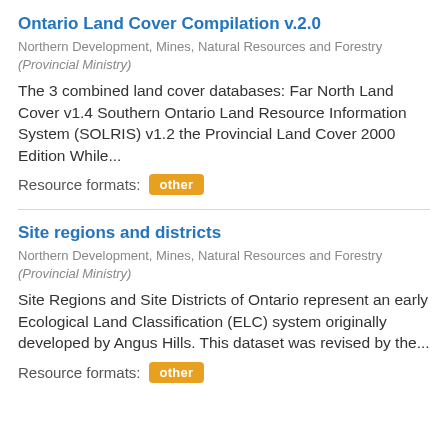Ontario Land Cover Compilation v.2.0
Northern Development, Mines, Natural Resources and Forestry (Provincial Ministry)
The 3 combined land cover databases: Far North Land Cover v1.4 Southern Ontario Land Resource Information System (SOLRIS) v1.2 the Provincial Land Cover 2000 Edition While...
Resource formats: other
Site regions and districts
Northern Development, Mines, Natural Resources and Forestry (Provincial Ministry)
Site Regions and Site Districts of Ontario represent an early Ecological Land Classification (ELC) system originally developed by Angus Hills. This dataset was revised by the...
Resource formats: other